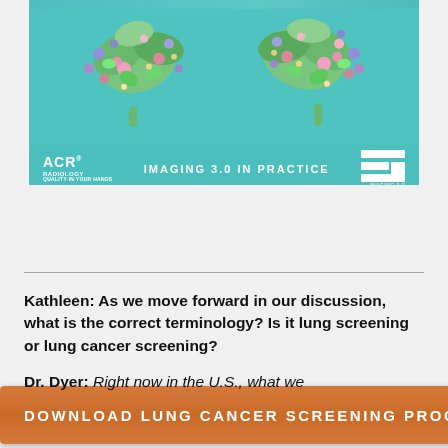[Figure (photo): Decorative image showing lung shapes made of colorful flowers on a teal background, with ACR Radiology logo on left, 'IMAGING 3.0 IN PRACTICE' text in center, and Imaging 3.0 logo on right]
DOWNLOAD LUNG CANCER SCREENING PROGRA...
Kathleen: As we move forward in our discussion, what is the correct terminology? Is it lung screening or lung cancer screening?
Dr. Dyer: Right now in the U.S., what we